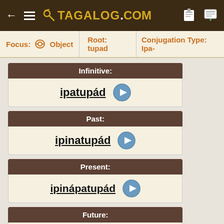TAGALOG.COM
Focus: Object  Root: tupad  Conjugation Type: Ipa-
Infinitive:
ipatupád
Past:
ipinatupád
Present:
ipinápatupád
Future:
ipápatupád